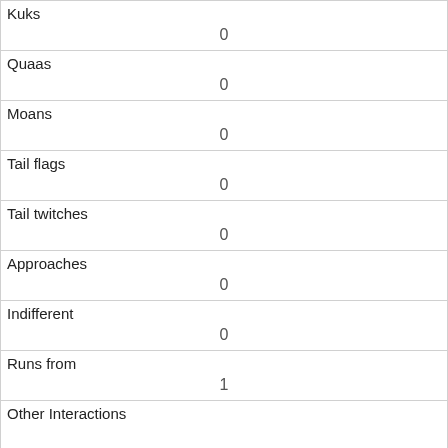| Kuks | 0 |
| Quaas | 0 |
| Moans | 0 |
| Tail flags | 0 |
| Tail twitches | 0 |
| Approaches | 0 |
| Indifferent | 0 |
| Runs from | 1 |
| Other Interactions |  |
| Lat/Long | POINT (-73.9716881838671 40.778553537087) |